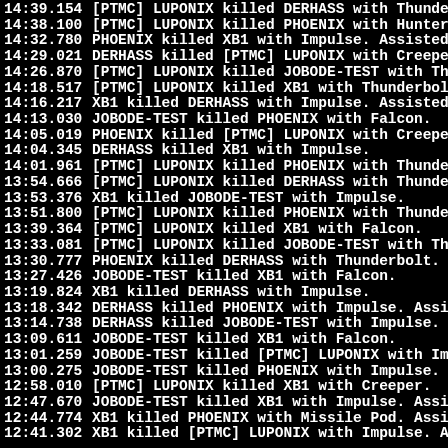14:39.154  [PTMC] LUPONIX killed DERHASS with Thunder
14:38.100  [PTMC] LUPONIX killed PHOENIX with Hunter.
14:32.780  PHOENIX killed XB1 with Impulse. Assisted by D
14:29.021  DERHASS killed [PTMC] LUPONIX with Creeper.
14:26.870  [PTMC] LUPONIX killed JOBODE-TEST with Thu
14:18.517  [PTMC] LUPONIX killed XB1 with Thunderbolt. A
14:16.217  XB1 killed DERHASS with Impulse. Assisted by
14:13.030  JOBODE-TEST killed PHOENIX with Falcon.
14:05.019  PHOENIX killed [PTMC] LUPONIX with Creeper.
14:04.345  DERHASS killed XB1 with Impulse.
14:01.961  [PTMC] LUPONIX killed PHOENIX with Thunderb
13:54.666  [PTMC] LUPONIX killed DERHASS with Thunder
13:53.376  XB1 killed JOBODE-TEST with Impulse.
13:51.800  [PTMC] LUPONIX killed PHOENIX with Thunderb
13:39.364  [PTMC] LUPONIX killed XB1 with Falcon.
13:33.081  [PTMC] LUPONIX killed JOBODE-TEST with Thu
13:30.777  PHOENIX killed DERHASS with Thunderbolt.
13:27.426  JOBODE-TEST killed XB1 with Falcon.
13:19.824  XB1 killed DERHASS with Impulse.
13:18.342  DERHASS killed PHOENIX with Impulse. Assiste
13:14.738  DERHASS killed JOBODE-TEST with Impulse.
13:09.611  JOBODE-TEST killed XB1 with Falcon.
13:01.259  JOBODE-TEST killed [PTMC] LUPONIX with Imp
13:00.275  JOBODE-TEST killed PHOENIX with Impulse. As
12:58.010  [PTMC] LUPONIX killed XB1 with Creeper.
12:47.670  JOBODE-TEST killed XB1 with Impulse. Assiste
12:44.774  XB1 killed PHOENIX with Missile Pod. Assisted b
12:41.302  XB1 killed [PTMC] LUPONIX with Impulse. Assis